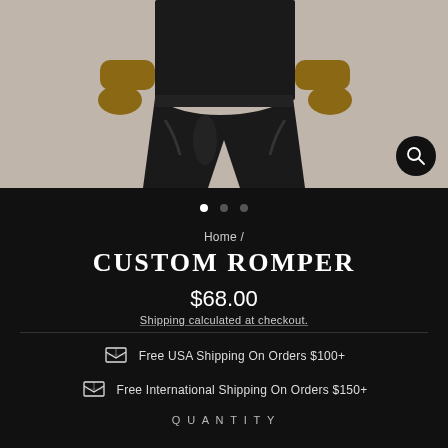[Figure (photo): Model wearing black faux leather leggings/romper, cropped at midsection, beige background]
Home /
CUSTOM ROMPER
$68.00
Shipping calculated at checkout.
Free USA Shipping On Orders $100+
Free International Shipping On Orders $150+
QUANTITY